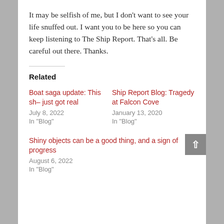It may be selfish of me, but I don't want to see your life snuffed out. I want you to be here so you can keep listening to The Ship Report. That's all. Be careful out there. Thanks.
Related
Boat saga update: This sh– just got real
July 8, 2022
In "Blog"
Ship Report Blog: Tragedy at Falcon Cove
January 13, 2020
In "Blog"
Shiny objects can be a good thing, and a sign of progress
August 6, 2022
In "Blog"